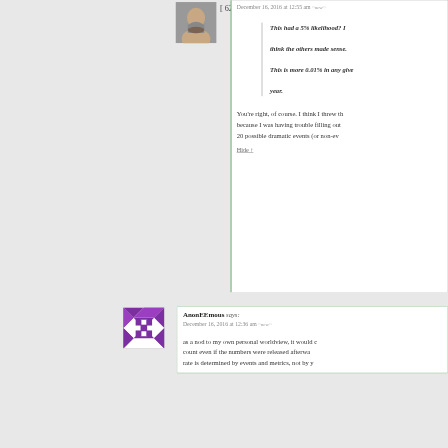[ 624 comments since 1970-01-01 00:0
December 16, 2016 at 12:55 am ~new~
This had a 5% likelihood? I think the others made sense. This is more 0.01% in any given year.
You're right, of course. I think I threw th because I was having trouble filling out 20 possible dramatic events (or non-ev
Hide ↑
AnonEEmous says:
December 16, 2016 at 12:36 am ~new~
as a nod to my own personal worldview, it would count even if the numbers were released afterwa rate is determined by events and metrics, not by y